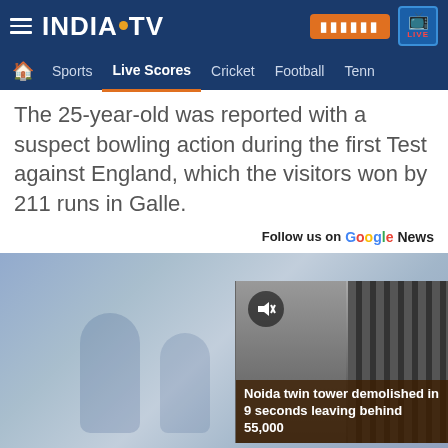INDIA TV - Live Scores, Cricket, Football, Tennis
The 25-year-old was reported with a suspect bowling action during the first Test against England, which the visitors won by 211 runs in Galle.
Follow us on Google News
[Figure (photo): Blurred cricket match photo as background with a video overlay thumbnail showing a building being demolished, captioned 'Noida twin tower demolished in 9 seconds leaving behind 55,000']